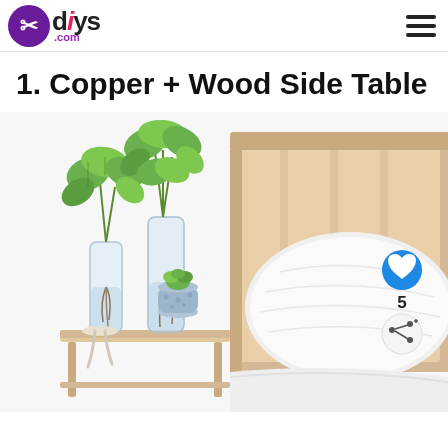diys.com
1. Copper + Wood Side Table
[Figure (photo): A minimalist bedroom scene showing a light wood side table with two glass vases containing green leafy plants with visible roots, a small blue ceramic pot with a succulent, and a white pillow on a bed with a light wood headboard in the background. Social interaction buttons (heart and share) are overlaid on the right side, with a count of 5.]